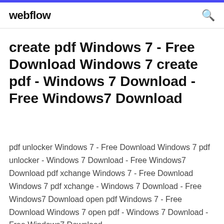webflow
create pdf Windows 7 - Free Download Windows 7 create pdf - Windows 7 Download - Free Windows7 Download
pdf unlocker Windows 7 - Free Download Windows 7 pdf unlocker - Windows 7 Download - Free Windows7 Download pdf xchange Windows 7 - Free Download Windows 7 pdf xchange - Windows 7 Download - Free Windows7 Download open pdf Windows 7 - Free Download Windows 7 open pdf - Windows 7 Download - Free Windows7 Download